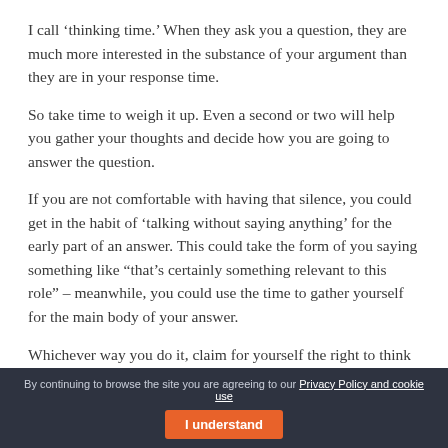I call ‘thinking time.’ When they ask you a question, they are much more interested in the substance of your argument than they are in your response time.
So take time to weigh it up. Even a second or two will help you gather your thoughts and decide how you are going to answer the question.
If you are not comfortable with having that silence, you could get in the habit of ‘talking without saying anything’ for the early part of an answer. This could take the form of you saying something like “that’s certainly something relevant to this role” – meanwhile, you could use the time to gather yourself for the main body of your answer.
Whichever way you do it, claim for yourself the right to think through the main body of your answer before committing to it. An interview is not a speed test. Nor, indeed, is it an elocution test – the key thing for you is to
By continuing to browse the site you are agreeing to our Privacy Policy and cookie use   I understand